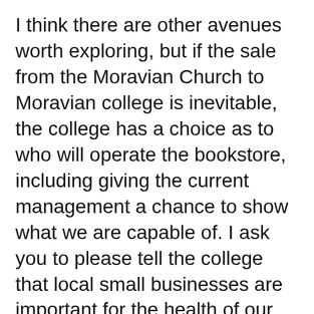I think there are other avenues worth exploring, but if the sale from the Moravian Church to Moravian college is inevitable, the college has a choice as to who will operate the bookstore, including giving the current management a chance to show what we are capable of. I ask you to please tell the college that local small businesses are important for the health of our historic downtown and the entire city.
We need you to sign the petition on Change.org and contact Moravian College (information below) to tell we do not want huge national and multinational corporations controlling our downtown!
Send your objections to the sale of this historic